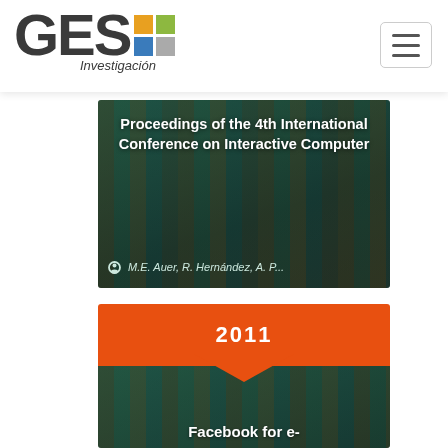[Figure (logo): GEST Investigación logo with colored grid squares]
[Figure (illustration): Card with dark teal background showing book spines, titled 'Proceedings of the 4th International Conference on Interactive Computer', authored by M.E. Auer, R. Hernández, A. P...]
Proceedings of the 4th International Conference on Interactive Computer
M.E. Auer, R. Hernández, A. P...
[Figure (illustration): Card with orange top section showing year 2011, chevron divider, and dark teal bottom section with text 'Facebook for e-']